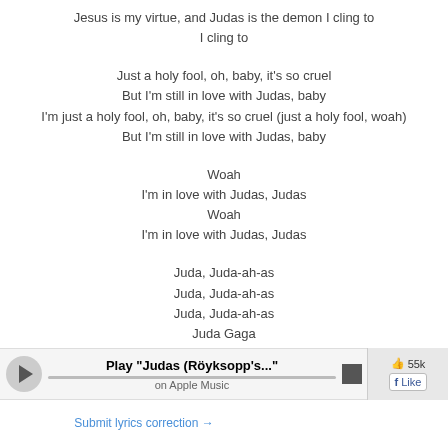Jesus is my virtue, and Judas is the demon I cling to
I cling to
Just a holy fool, oh, baby, it's so cruel
But I'm still in love with Judas, baby
I'm just a holy fool, oh, baby, it's so cruel (just a holy fool, woah)
But I'm still in love with Judas, baby
Woah
I'm in love with Judas, Judas
Woah
I'm in love with Judas, Judas
Juda, Juda-ah-as
Juda, Juda-ah-as
Juda, Juda-ah-as
Juda Gaga
[Figure (other): Music player bar with play button, track title 'Play "Judas (Röyksopp's..."', on Apple Music label, progress bar, stop button, and social like count 55k with Facebook Like button]
Submit lyrics correction →